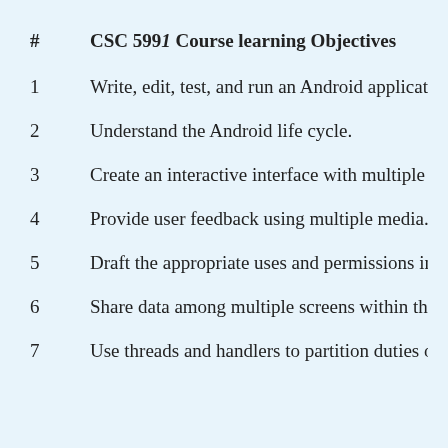# CSC 5991 Course learning Objectives
1   Write, edit, test, and run an Android application using Ecli
2   Understand the Android life cycle.
3   Create an interactive interface with multiple controls.
4   Provide user feedback using multiple media.
5   Draft the appropriate uses and permissions in the manifest
6   Share data among multiple screens within the application.
7   Use threads and handlers to partition duties of the applicat